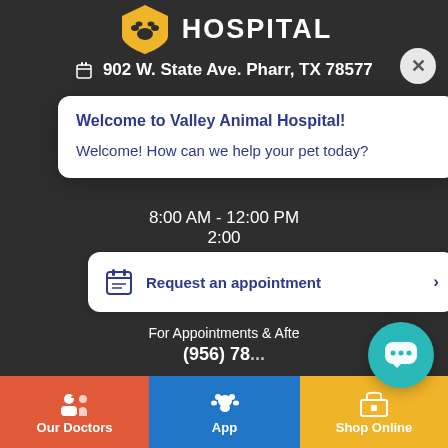[Figure (logo): Valley Animal Hospital paw/stethoscope logo icon in yellow/gold]
HOSPITAL
902 W. State Ave. Pharr, TX 78577
Welcome to Valley Animal Hospital!
Welcome! How can we help your pet today?
8:00 AM - 12:00 PM
2:00
8:00 AM - 12:00 PM
Request an appointment >
For Appointments & Afte
(956) 78...
Request boarding >
Other Options >
SITE LIN
Valley Animal Hospital Online Pharm
Our Doctors
App
Shop Online